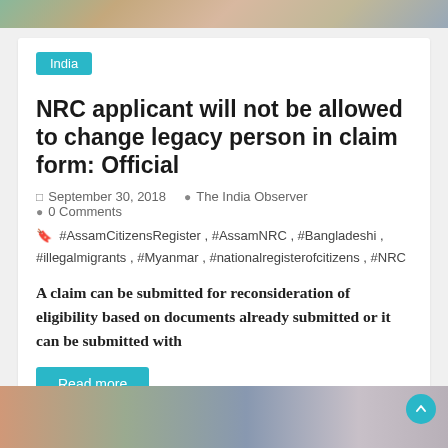[Figure (photo): Top portion of a photo showing people, partially cropped at the top of the page]
India
NRC applicant will not be allowed to change legacy person in claim form: Official
September 30, 2018   The India Observer   0 Comments
#AssamCitizensRegister, #AssamNRC, #Bangladeshi, #illegalmigrants, #Myanmar, #nationalregisterofcitizens, #NRC
A claim can be submitted for reconsideration of eligibility based on documents already submitted or it can be submitted with
Read more
[Figure (photo): Bottom portion of a photo showing people standing, partially visible at the bottom of the page]